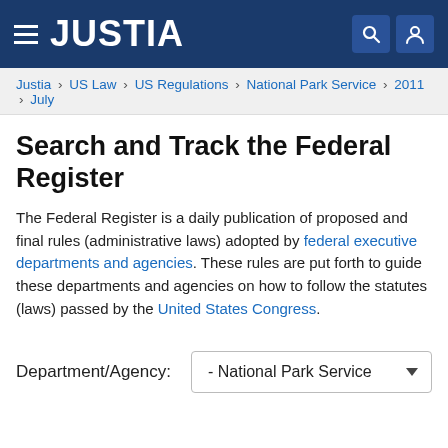JUSTIA
Justia › US Law › US Regulations › National Park Service › 2011 › July
Search and Track the Federal Register
The Federal Register is a daily publication of proposed and final rules (administrative laws) adopted by federal executive departments and agencies. These rules are put forth to guide these departments and agencies on how to follow the statutes (laws) passed by the United States Congress.
Department/Agency:
- National Park Service